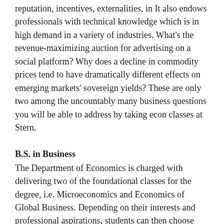reputation, incentives, externalities, in It also endows professionals with technical knowledge which is in high demand in a variety of industries. What's the revenue-maximizing auction for advertising on a social platform? Why does a decline in commodity prices tend to have dramatically different effects on emerging markets' sovereign yields? These are only two among the uncountably many business questions you will be able to address by taking econ classes at Stern.
B.S. in Business
The Department of Economics is charged with delivering two of the foundational classes for the degree, i.e. Microeconomics and Economics of Global Business. Depending on their interests and professional aspirations, students can then choose from a large set of electives, and can opt for one of the concentrations offered by the department. Business Economics and